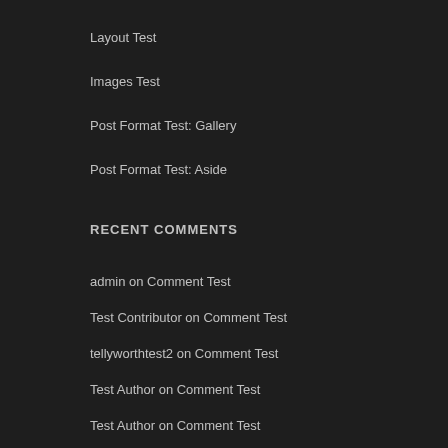Layout Test
Images Test
Post Format Test: Gallery
Post Format Test: Aside
RECENT COMMENTS
admin on Comment Test
Test Contributor on Comment Test
tellyworthtest2 on Comment Test
Test Author on Comment Test
Test Author on Comment Test